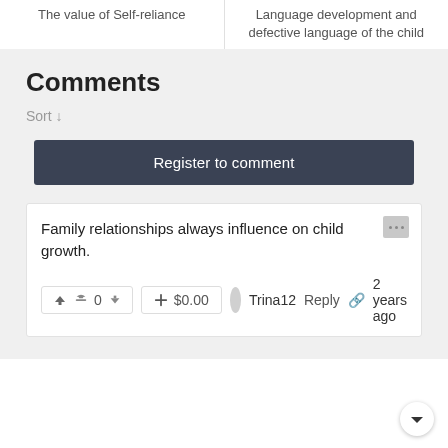The value of Self-reliance
Language development and defective language of the child
Comments
Sort ↓
Register to comment
Family relationships always influence on child growth.
0  $0.00  Trina12  Reply  2 years ago